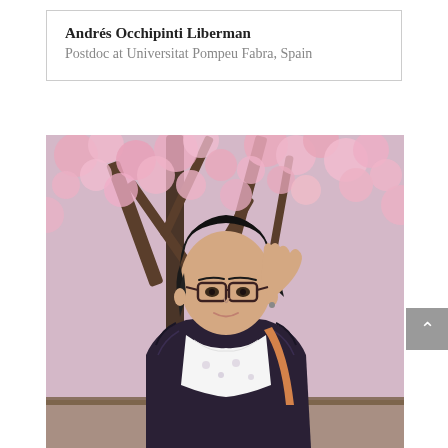Andrés Occhipinti Liberman
Postdoc at Universitat Pompeu Fabra, Spain
[Figure (photo): Portrait photo of a young East Asian woman with glasses, wearing a dark striped blazer and white floral scarf, standing in front of cherry blossom trees with pink flowers, hand raised near her hair, smiling slightly.]